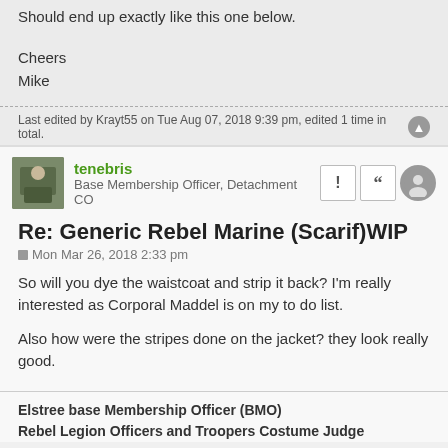Should end up exactly like this one below.
Cheers
Mike
Last edited by Krayt55 on Tue Aug 07, 2018 9:39 pm, edited 1 time in total.
tenebris
Base Membership Officer, Detachment CO
Re: Generic Rebel Marine (Scarif)WIP
Mon Mar 26, 2018 2:33 pm
So will you dye the waistcoat and strip it back? I'm really interested as Corporal Maddel is on my to do list.
Also how were the stripes done on the jacket? they look really good.
Elstree base Membership Officer (BMO)
Rebel Legion Officers and Troopers Costume Judge